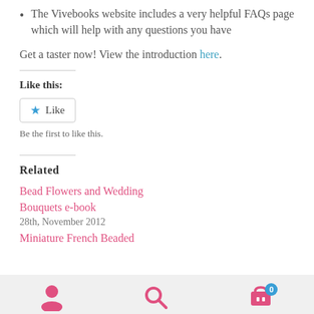The Vivebooks website includes a very helpful FAQs page which will help with any questions you have
Get a taster now! View the introduction here.
Like this:
[Figure (other): Like button with blue star icon and text 'Like']
Be the first to like this.
Related
Bead Flowers and Wedding Bouquets e-book
28th, November 2012
Miniature French Beaded
Navigation bar with user, search, and cart icons